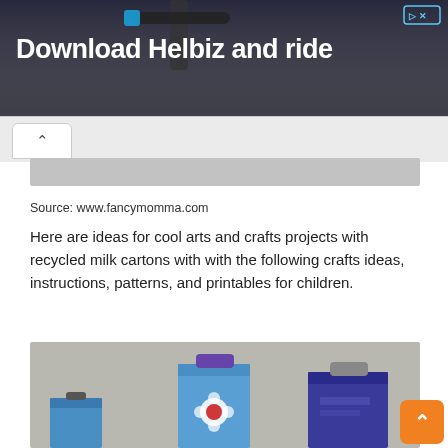[Figure (screenshot): Advertisement banner showing 'Download Helbiz and ride' text over a dark photo of an electric scooter handlebar]
[Figure (screenshot): Gray image area partially visible below the tab navigation, appears to be continuation of a previous image]
Source: www.fancymomma.com
Here are ideas for cool arts and crafts projects with recycled milk cartons with with the following crafts ideas, instructions, patterns, and printables for children.
[Figure (photo): Photo of three painted milk cartons decorated as craft projects, painted in blue and purple with flower designs, placed on a gray surface]